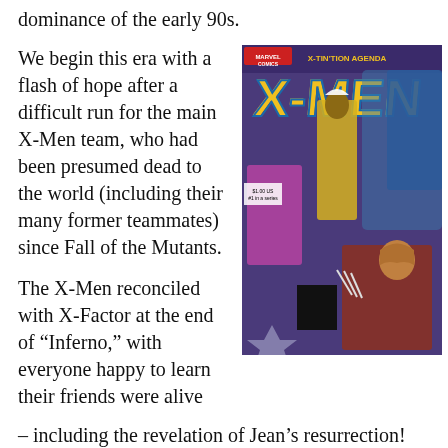dominance of the early 90s.
We begin this era with a flash of hope after a difficult run for the main X-Men team, who had been presumed dead to the world (including their many former teammates) since Fall of the Mutants.
[Figure (photo): Cover of X-Men: X-Tinction Agenda comic book published by Marvel Comics, featuring multiple mutant characters including Storm in a yellow suit and Wolverine in his brown costume, with villains in blue.]
The X-Men reconciled with X-Factor at the end of “Inferno,” with everyone happy to learn their friends were alive – including the revelation of Jean’s resurrection! Meanwhile, the New Mutants were rattled to find their friend Illyana reduced to childhood and Excalibur had